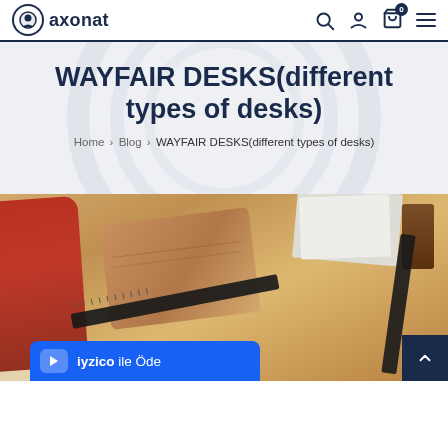axonat — navigation bar with logo, search, user, cart (0), and menu icons
WAYFAIR DESKS(different types of desks)
Home > Blog > WAYFAIR DESKS(different types of desks)
[Figure (photo): Photo of a wooden desk with a red chair, leather notebook, black rulers, wooden blocks, and white papers on top. An iyzico payment banner is overlaid at the bottom left.]